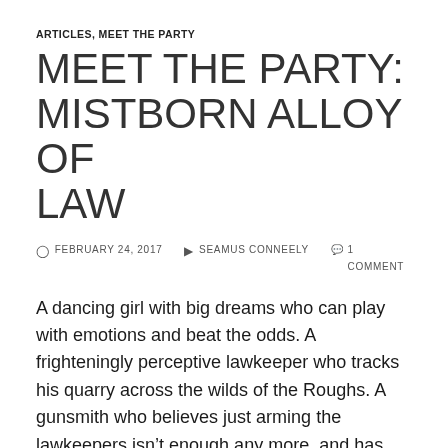ARTICLES, MEET THE PARTY
MEET THE PARTY: MISTBORN ALLOY OF LAW
FEBRUARY 24, 2017   SEAMUS CONNEELY   1 COMMENT
A dancing girl with big dreams who can play with emotions and beat the odds. A frighteningly perceptive lawkeeper who tracks his quarry across the wilds of the Roughs. A gunsmith who believes just arming the lawkeepers isn't enough any more, and has joined in himself. A koloss-blooded exile determined to improve his people's place in the world with strength of arms and a deputy's badge. A vigilante Ferring with vengeance in her heart and the speed of steel. Meet the Party provides an entire